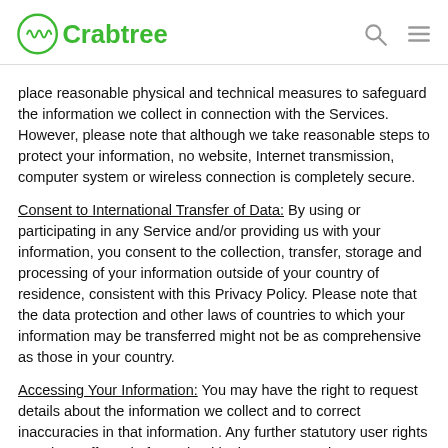Crabtree
place reasonable physical and technical measures to safeguard the information we collect in connection with the Services. However, please note that although we take reasonable steps to protect your information, no website, Internet transmission, computer system or wireless connection is completely secure.
Consent to International Transfer of Data: By using or participating in any Service and/or providing us with your information, you consent to the collection, transfer, storage and processing of your information outside of your country of residence, consistent with this Privacy Policy. Please note that the data protection and other laws of countries to which your information may be transferred might not be as comprehensive as those in your country.
Accessing Your Information: You may have the right to request details about the information we collect and to correct inaccuracies in that information. Any further statutory user rights remain unaffected. If permitted by law, we may charge you a small fee for providing you with this ability. We may decline to process requests that are unreasonably repetitive, require disproportionate technical effort, jeopardize the privacy of others, are extremely impractical, or